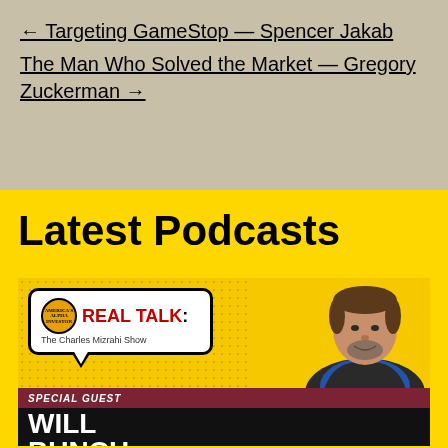← Targeting GameStop — Spencer Jakab
The Man Who Solved the Market — Gregory Zuckerman →
Latest Podcasts
[Figure (illustration): Real Talk: The Charles Mizrahi Show podcast card featuring special guest Will Bunch. Black background with yellow halftone dots pattern, speech bubble logo, and photo of Will Bunch in a blue shirt.]